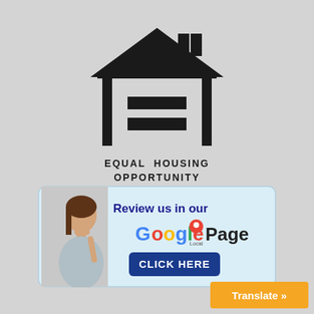[Figure (logo): Equal Housing Opportunity logo: black house outline with equal sign (two horizontal bars) inside, with text 'EQUAL HOUSING OPPORTUNITY' below in bold uppercase letters]
[Figure (infographic): Banner advertisement: light blue background with rounded border, showing a woman thinking with finger on chin, text 'Review us in our Google Local Page' with Google logo styling and 'CLICK HERE' button in dark blue]